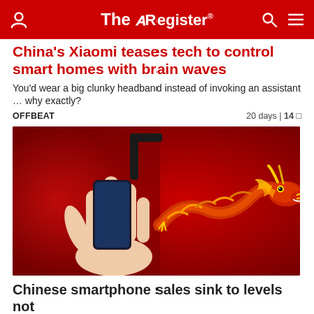The Register
China's Xiaomi teases tech to control smart homes with brain waves
You'd wear a big clunky headband instead of invoking an assistant … why exactly?
OFFBEAT   20 days | 14
[Figure (photo): A hand holding a smartphone against a red background, with a decorative Chinese dragon emerging from the phone, and what appears to be a black L-shaped tool above the phone.]
Chinese smartphone sales sink to levels not